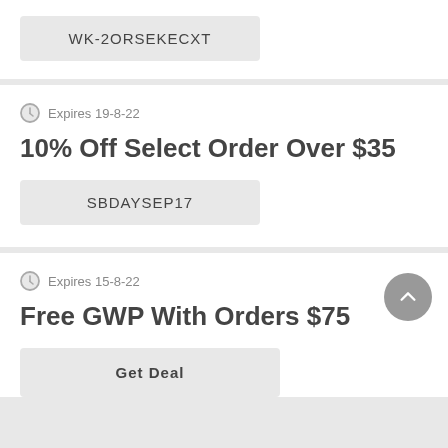WK-2ORSEKECXT
Expires 19-8-22
10% Off Select Order Over $35
SBDAYSEP17
Expires 15-8-22
Free GWP With Orders $75
Get Deal